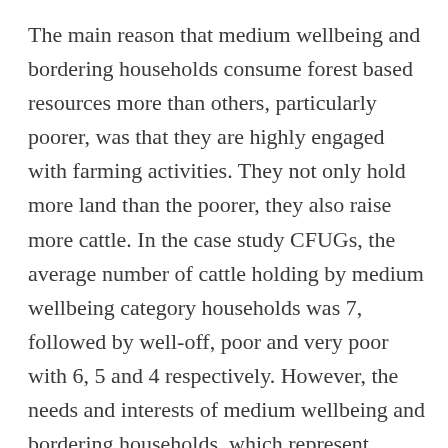The main reason that medium wellbeing and bordering households consume forest based resources more than others, particularly poorer, was that they are highly engaged with farming activities. They not only hold more land than the poorer, they also raise more cattle. In the case study CFUGs, the average number of cattle holding by medium wellbeing category households was 7, followed by well-off, poor and very poor with 6, 5 and 4 respectively. However, the needs and interests of medium wellbeing and bordering households, which represent around 79% of the total households, were found to be overlooked by the REDD+ pilot. The REDD+ pilot focussed its activities (e.g. IGA, ICS, and skills development) on the poorer. How much the poorer have benefited is another issue